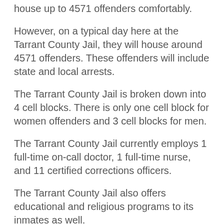house up to 4571 offenders comfortably.
However, on a typical day here at the Tarrant County Jail, they will house around 4571 offenders. These offenders will include state and local arrests.
The Tarrant County Jail is broken down into 4 cell blocks. There is only one cell block for women offenders and 3 cell blocks for men.
The Tarrant County Jail currently employs 1 full-time on-call doctor, 1 full-time nurse, and 11 certified corrections officers.
The Tarrant County Jail also offers educational and religious programs to its inmates as well.
✏ Incorrect information? Suggest an edit!
Tarrant County Jail — General Info